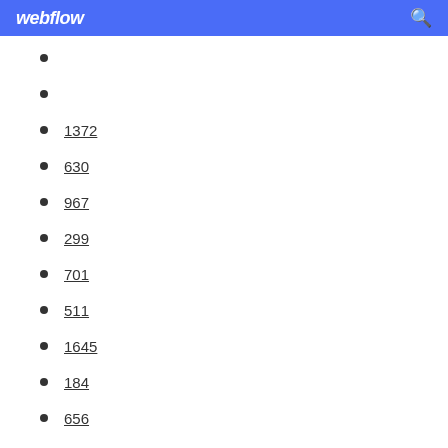webflow
1372
630
967
299
701
511
1645
184
656
1894